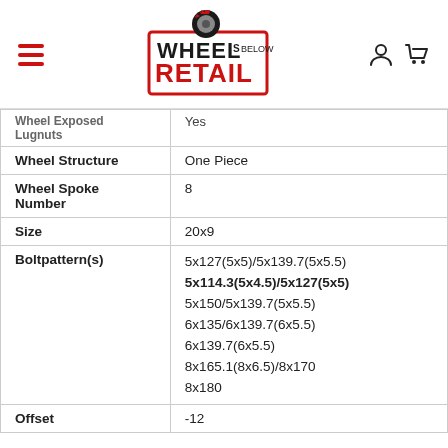Wheels Below Retail
| Wheel Exposed Lugnuts | Yes |
| Wheel Structure | One Piece |
| Wheel Spoke Number | 8 |
| Size | 20x9 |
| Boltpattern(s) | 5x127(5x5)/5x139.7(5x5.5)
5x114.3(5x4.5)/5x127(5x5)
5x150/5x139.7(5x5.5)
6x135/6x139.7(6x5.5)
6x139.7(6x5.5)
8x165.1(8x6.5)/8x170
8x180 |
| Offset | -12 |